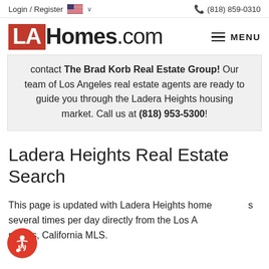Login / Register  🇺🇸 ∨   (818) 859-0310
[Figure (logo): LAHomes.com logo with red LA box and black Homes.com text, plus hamburger MENU button on the right]
contact The Brad Korb Real Estate Group! Our team of Los Angeles real estate agents are ready to guide you through the Ladera Heights housing market. Call us at (818) 953-5300!
Ladera Heights Real Estate Search
This page is updated with Ladera Heights home listings several times per day directly from the Los Angeles, California MLS.